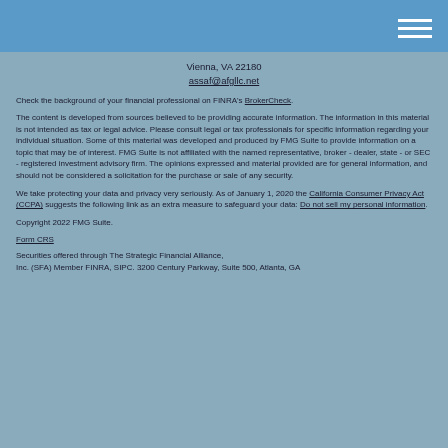Vienna, VA 22180
assaf@afgllc.net
Check the background of your financial professional on FINRA's BrokerCheck.
The content is developed from sources believed to be providing accurate information. The information in this material is not intended as tax or legal advice. Please consult legal or tax professionals for specific information regarding your individual situation. Some of this material was developed and produced by FMG Suite to provide information on a topic that may be of interest. FMG Suite is not affiliated with the named representative, broker - dealer, state - or SEC - registered investment advisory firm. The opinions expressed and material provided are for general information, and should not be considered a solicitation for the purchase or sale of any security.
We take protecting your data and privacy very seriously. As of January 1, 2020 the California Consumer Privacy Act (CCPA) suggests the following link as an extra measure to safeguard your data: Do not sell my personal information.
Copyright 2022 FMG Suite.
Form CRS
Securities offered through The Strategic Financial Alliance, Inc. (SFA) Member FINRA, SIPC. 3200 Century Parkway, Suite 500, Atlanta, GA